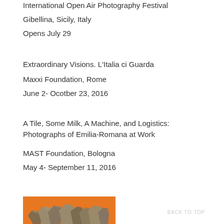International Open Air Photography Festival
Gibellina, Sicily, Italy
Opens July 29
Extraordinary Visions. L'Italia ci Guarda
Maxxi Foundation, Rome
June 2- Ocotber 23, 2016
A Tile, Some Milk, A Machine, and Logistics: Photographs of Emilia-Romana at Work
MAST Foundation, Bologna
May 4- September 11, 2016
[Figure (photo): Partial view of rocky/stone objects on an orange background, bottom-left of page]
BACK TO TOP